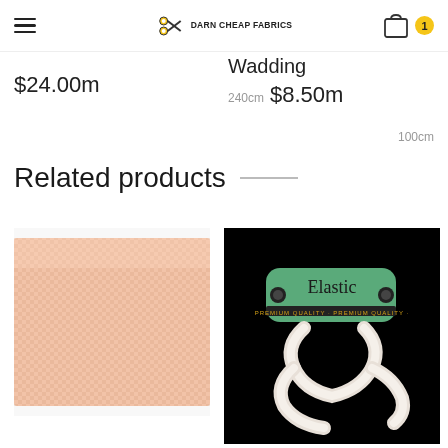Darn Cheap Fabrics — navigation header with hamburger menu, logo, cart icon with badge 1
$24.00m
Wadding
$8.50m
240cm
100cm
Related products
[Figure (photo): Peach/salmon colored woven fabric swatch]
[Figure (photo): White elastic band on a green card labeled 'Elastic' on a black background]